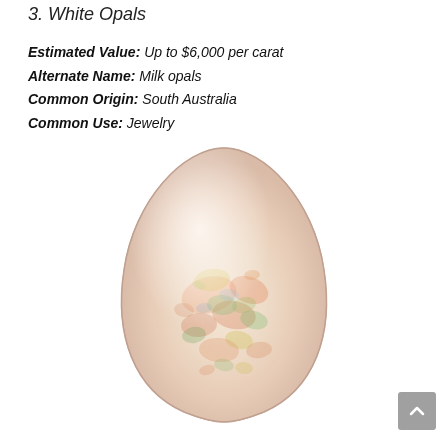3. White Opals
Estimated Value: Up to $6,000 per carat
Alternate Name: Milk opals
Common Origin: South Australia
Common Use: Jewelry
[Figure (photo): A teardrop-shaped white opal gemstone with iridescent color play (orange, green, yellow flashes) on a white background.]